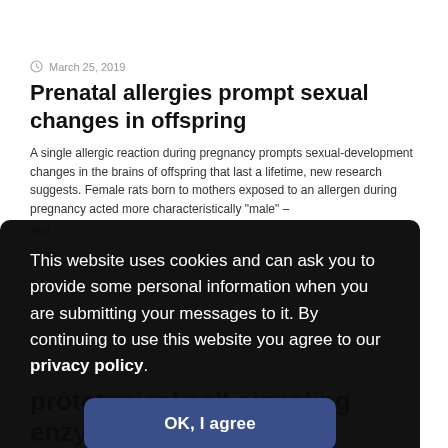March 25, 2019
Prenatal allergies prompt sexual changes in offspring
A single allergic reaction during pregnancy prompts sexual-development changes in the brains of offspring that last a lifetime, new research suggests. Female rats born to mothers exposed to an allergen during pregnancy acted more characteristically "male" – and
This website uses cookies and can ask you to provide some personal information when you are submitting your messages to it. By continuing to use this website you agree to our privacy policy.
OK, I agree
prototypical cell signaling enzyme